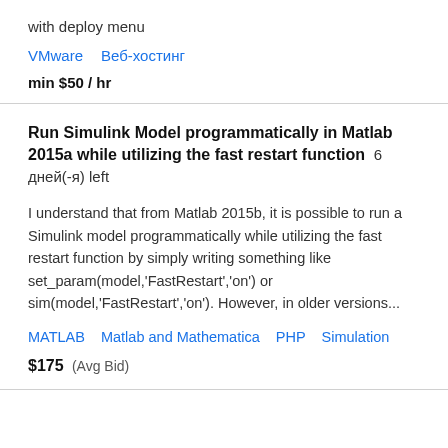with deploy menu
VMware   Веб-хостинг
min $50 / hr
Run Simulink Model programmatically in Matlab 2015a while utilizing the fast restart function  6 дней(-я) left
I understand that from Matlab 2015b, it is possible to run a Simulink model programmatically while utilizing the fast restart function by simply writing something like set_param(model,'FastRestart','on') or sim(model,'FastRestart','on'). However, in older versions...
MATLAB   Matlab and Mathematica   PHP   Simulation
$175  (Avg Bid)